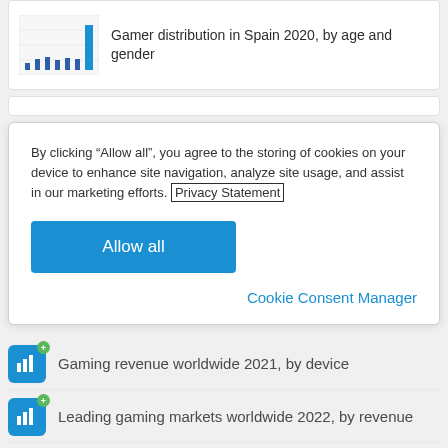[Figure (screenshot): Partial bar chart thumbnail for 'Gamer distribution in Spain 2020, by age and gender']
Gamer distribution in Spain 2020, by age and gender
By clicking “Allow all”, you agree to the storing of cookies on your device to enhance site navigation, analyze site usage, and assist in our marketing efforts. Privacy Statement
Allow all
Cookie Consent Manager
Gaming revenue worldwide 2021, by device
Leading gaming markets worldwide 2022, by revenue
Spain: video game industry revenue distribution 2021 by region